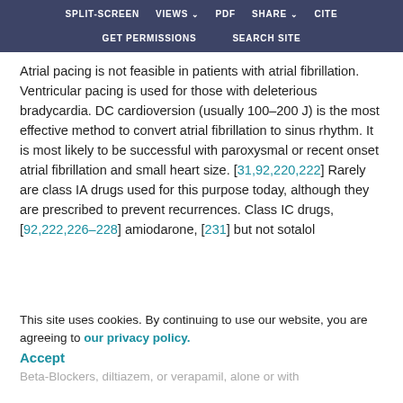SPLIT-SCREEN  VIEWS  PDF  SHARE  CITE  GET PERMISSIONS  SEARCH SITE
Atrial pacing is not feasible in patients with atrial fibrillation. Ventricular pacing is used for those with deleterious bradycardia. DC cardioversion (usually 100–200 J) is the most effective method to convert atrial fibrillation to sinus rhythm. It is most likely to be successful with paroxysmal or recent onset atrial fibrillation and small heart size. [31,92,220,222] Rarely are class IA drugs used for this purpose today, although they are prescribed to prevent recurrences. Class IC drugs, [92,222,226–228] amiodarone, [231] but not sotalol
This site uses cookies. By continuing to use our website, you are agreeing to our privacy policy.
Accept
Beta-Blockers, diltiazem, or verapamil, alone or with